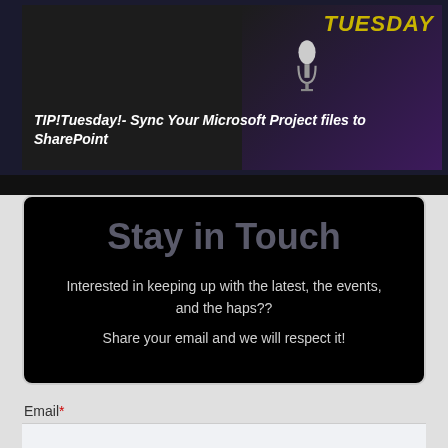[Figure (screenshot): Thumbnail image for a video titled 'TIP!Tuesday!- Sync Your Microsoft Project files to SharePoint' with dark background and 'TUESDAY' text in yellow on the right]
Stay in Touch
Interested in keeping up with the latest, the events, and the haps??
Share your email and we will respect it!
Email*
First name